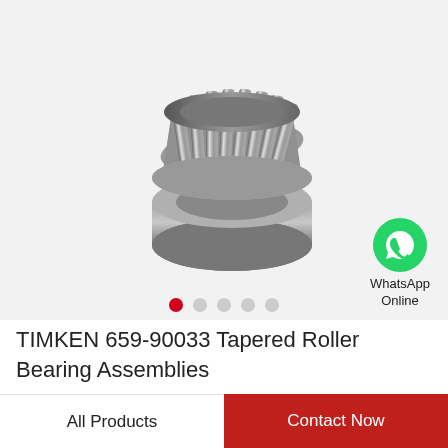[Figure (photo): Two tapered roller bearing assemblies (cone and cup components) photographed on a light gray background. The bearings are metallic silver/gray, shown from a slightly elevated angle.]
WhatsApp Online
TIMKEN 659-90033 Tapered Roller Bearing Assemblies
All Products
Contact Now